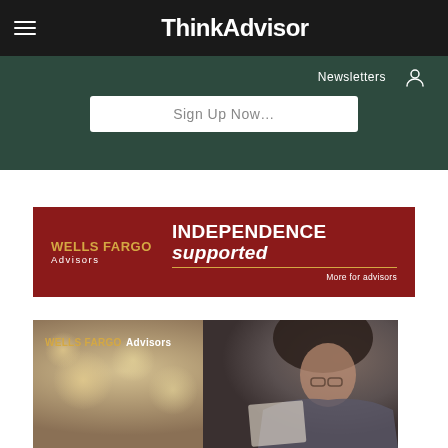ThinkAdvisor
[Figure (screenshot): ThinkAdvisor website header with dark green newsletter signup bar showing 'Newsletters' label, user icon, and 'Sign Up Now' button on dark green background]
[Figure (infographic): Wells Fargo Advisors banner advertisement with dark red background showing 'INDEPENDENCE supported' text and 'More for advisors' tagline]
[Figure (photo): Wells Fargo Advisors promotional image showing a woman with curly hair and glasses reviewing documents, with blurred bokeh background lighting]